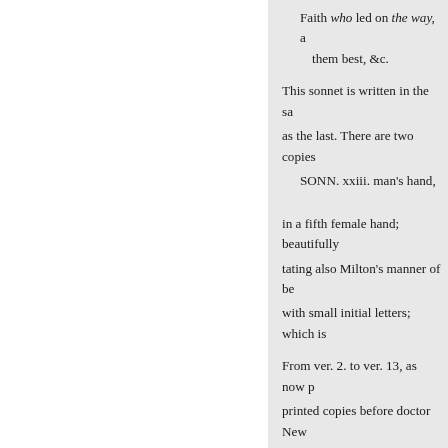Faith who led on the way, a… them best, &c.
This sonnet is written in the sa… as the last. There are two copies …
SONN. xxiii. man's hand,
in a fifth female hand; beautifully
tating also Milton's manner of be… with small initial letters; which is…
From ver. 2. to ver. 13, as now p… printed copies before doctor New…
APPENDIX TO THE SONNET
J. 1652. On the Proposalls of a… Birch, in bis Life of Milton, bas …
sonnet, said to be written by Mil…
ever.
« Предишна